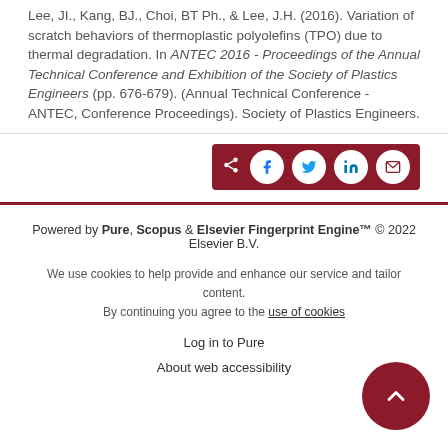Lee, JI., Kang, BJ., Choi, BT Ph., & Lee, J.H. (2016). Variation of scratch behaviors of thermoplastic polyolefins (TPO) due to thermal degradation. In ANTEC 2016 - Proceedings of the Annual Technical Conference and Exhibition of the Society of Plastics Engineers (pp. 676-679). (Annual Technical Conference - ANTEC, Conference Proceedings). Society of Plastics Engineers.
[Figure (other): Share buttons bar with icons for Facebook, Twitter, LinkedIn, and Email on a dark red background]
Powered by Pure, Scopus & Elsevier Fingerprint Engine™ © 2022 Elsevier B.V.
We use cookies to help provide and enhance our service and tailor content. By continuing you agree to the use of cookies
Log in to Pure
About web accessibility